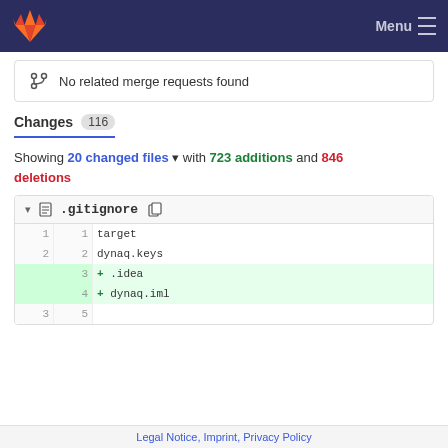Menu
No related merge requests found
Changes 116
Showing 20 changed files with 723 additions and 846 deletions
| old | new | code |
| --- | --- | --- |
| 1 | 1 | target |
| 2 | 2 | dynaq.keys |
|  | 3 | + .idea |
|  | 4 | + dynaq.iml |
| 3 | 5 |  |
Legal Notice, Imprint, Privacy Policy